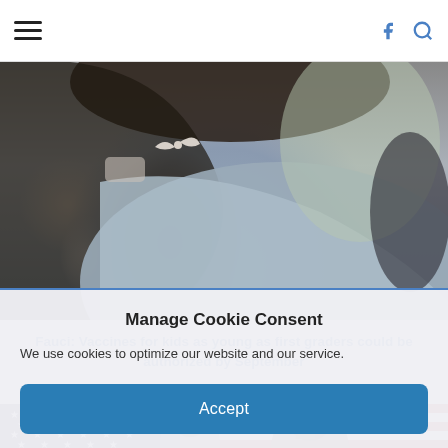Menu | Facebook | Search
[Figure (photo): Close-up back view of a young girl wearing a gray sweater with a white bow/mask on her head, blurred background]
Fauci: Vaccines for kids as young as first graders could be authorized by September
[Figure (photo): People standing in front of an American flag background, partially visible]
Manage Cookie Consent
We use cookies to optimize our website and our service.
Accept